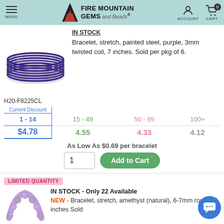FIRE MOUNTAIN GEMS and Beads - ACCOUNT - CART 0 - MENU
IN STOCK
Bracelet, stretch, painted steel, purple, 3mm twisted coil, 7 inches. Sold per pkg of 6.
[Figure (photo): Stack of purple painted steel stretch bracelets, twisted coil style, shown from above at an angle.]
H20-F8225CL
| Current Discount | 1 - 14 | 15 - 49 | 50 - 99 | 100+ |
| --- | --- | --- | --- | --- |
| $4.78 | 4.55 | 4.33 | 4.12 |
As Low As $0.69 per bracelet
LIMITED QUANTITY
IN STOCK - Only 22 Available
[Figure (photo): Purple amethyst stretch bracelet made of round beads.]
NEW - Bracelet, stretch, amethyst (natural), 6-7mm round, 7 inches Sold